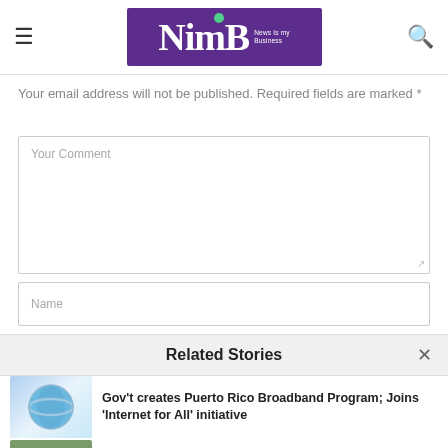NimB News Is my Business
Your email address will not be published. Required fields are marked *
Your Comment
Name
Related Stories
Gov't creates Puerto Rico Broadband Program; Joins 'Internet for All' initiative